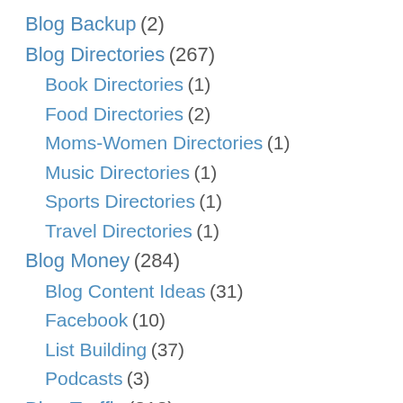Blog Backup (2)
Blog Directories (267)
Book Directories (1)
Food Directories (2)
Moms-Women Directories (1)
Music Directories (1)
Sports Directories (1)
Travel Directories (1)
Blog Money (284)
Blog Content Ideas (31)
Facebook (10)
List Building (37)
Podcasts (3)
Blog Traffic (213)
Guest Post Strategies (13)
Press Releases (7)